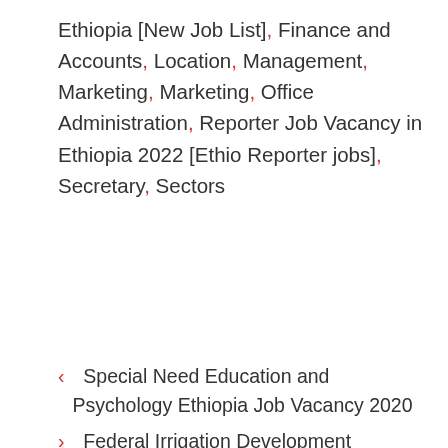Ethiopia [New Job List], Finance and Accounts, Location, Management, Marketing, Marketing, Office Administration, Reporter Job Vacancy in Ethiopia 2022 [Ethio Reporter jobs], Secretary, Sectors
< Special Need Education and Psychology Ethiopia Job Vacancy 2020
> Federal Irrigation Development Commission Job Vacancy 2020
Like & Get Job Alert
7.8K